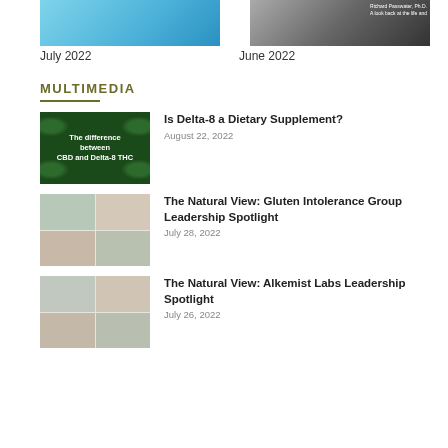[Figure (photo): Two thumbnail images side by side: left is a blue-toned image, right is a dark-toned portrait image with text 'Richard Passwater, Ph.D.']
July 2022
June 2022
MULTIMEDIA
[Figure (screenshot): Green background with cannabis leaves and text: The difference between CBD and Delta-8 THC]
Is Delta-8 a Dietary Supplement?
August 22, 2022
[Figure (screenshot): Video thumbnail showing video call with multiple participants]
The Natural View: Gluten Intolerance Group Leadership Spotlight
July 28, 2022
[Figure (screenshot): Video thumbnail showing video call with multiple participants]
The Natural View: Alkemist Labs Leadership Spotlight
July 26, 2022